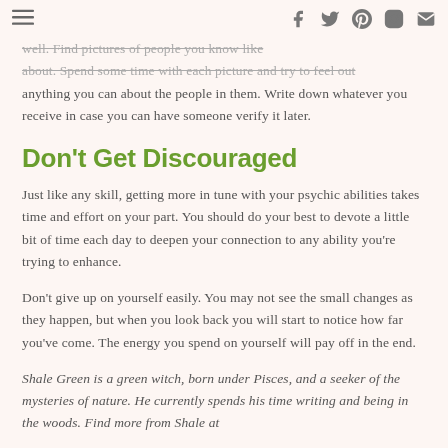≡  f  t   pinterest  instagram  mail
well. Find pictures of people you know like about. Spend some time with each picture and try to feel out anything you can about the people in them. Write down whatever you receive in case you can have someone verify it later.
Don't Get Discouraged
Just like any skill, getting more in tune with your psychic abilities takes time and effort on your part. You should do your best to devote a little bit of time each day to deepen your connection to any ability you're trying to enhance.
Don't give up on yourself easily. You may not see the small changes as they happen, but when you look back you will start to notice how far you've come. The energy you spend on yourself will pay off in the end.
Shale Green is a green witch, born under Pisces, and a seeker of the mysteries of nature. He currently spends his time writing and being in the woods. Find more from Shale at